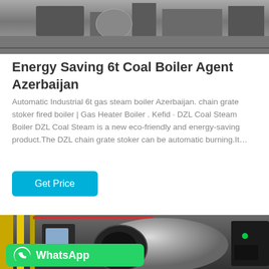[Figure (photo): Top portion of industrial machinery or boiler equipment in a factory setting, grayscale/muted tones]
Energy Saving 6t Coal Boiler Agent Azerbaijan
Automatic Industrial 6t gas steam boiler Azerbaijan. chain grate stoker fired boiler | Gas Heater Boiler . Kefid · DZL Coal Steam Boiler DZL Coal Steam is a new eco-friendly and energy-saving product.The DZL chain grate stoker can be automatic burning.It…
[Figure (screenshot): Blue 'Get Price' button]
[Figure (photo): Industrial gas steam boiler in a factory with yellow pipes on the left, a control panel, and a WhatsApp overlay button at the bottom left]